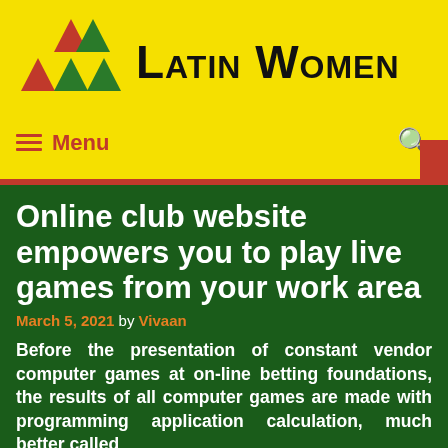[Figure (logo): Latin Women website logo with pyramid/triangle shapes in red and green on yellow background with site title 'Latin Women']
≡ Menu  🔍
Online club website empowers you to play live games from your work area
March 5, 2021 by Vivaan
Before the presentation of constant vendor computer games at on-line betting foundations, the results of all computer games are made with programming application calculation, much better called